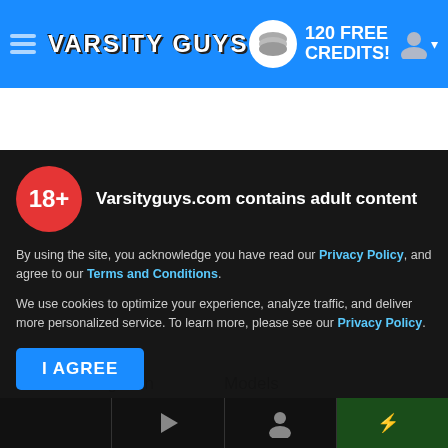VARSITY GUYS — 120 FREE CREDITS!
[Figure (screenshot): Navigation bar for Varsity Guys website with hamburger menu, site logo, 120 FREE CREDITS badge, and user icon on blue background]
Main Navigation   Models
18+  Varsityguys.com contains adult content
By using the site, you acknowledge you have read our Privacy Policy, and agree to our Terms and Conditions.
We use cookies to optimize your experience, analyze traffic, and deliver more personalized service. To learn more, please see our Privacy Policy.
I AGREE